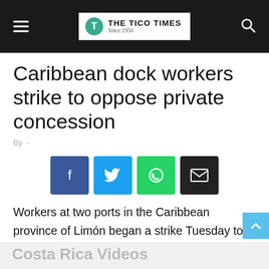THE TICO TIMES Since 1956
Caribbean dock workers strike to oppose private concession
By  -
[Figure (infographic): Social sharing buttons: Facebook (blue), Twitter (light blue), WhatsApp (green), Email (black)]
Workers at two ports in the Caribbean province of Limón began a strike Tuesday to protest the government concession to Dutch firm APM Terminals to build and manage a terminal port at Moín, union leaders said.
Costa Rica Videos